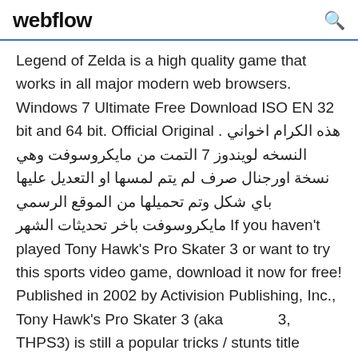webflow
Legend of Zelda is a high quality game that works in all major modern web browsers. Windows 7 Ultimate Free Download ISO EN 32 bit and 64 bit. Official Original . هذه الكرام اخواني النسخه لويندوز 7 التمت من مايكروسوفت وهي نسخة اورجنال صرف لم يتم لمسها او التعديل عليها باي شكل وتم تحميلها من الموقع الرسمي مايكروسوفت باخر تحديثات الشهر If you haven't played Tony Hawk's Pro Skater 3 or want to try this sports video game, download it now for free! Published in 2002 by Activision Publishing, Inc., Tony Hawk's Pro Skater 3 (aka             3, THPS3) is still a popular tricks / stunts title amongst retrogamers, with a whopping 4.4/5 rating. Get Wallhax's ARK: Survival Evolved Hack for PC